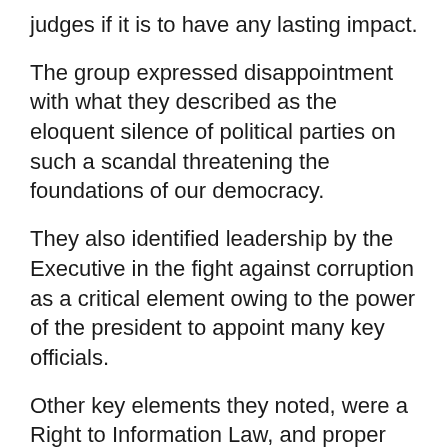judges if it is to have any lasting impact.
The group expressed disappointment with what they described as the eloquent silence of political parties on such a scandal threatening the foundations of our democracy.
They also identified leadership by the Executive in the fight against corruption as a critical element owing to the power of the president to appoint many key officials.
Other key elements they noted, were a Right to Information Law, and proper checks and balances between key institutions such as the police, Parliament and the Executive.